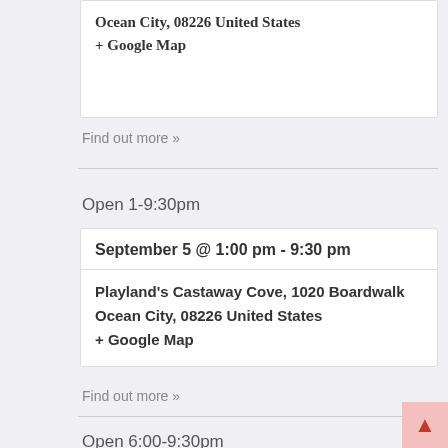Ocean City, 08226 United States
+ Google Map
Find out more »
Open 1-9:30pm
September 5 @ 1:00 pm - 9:30 pm
Playland's Castaway Cove, 1020 Boardwalk
Ocean City, 08226 United States
+ Google Map
Find out more »
Open 6:00-9:30pm